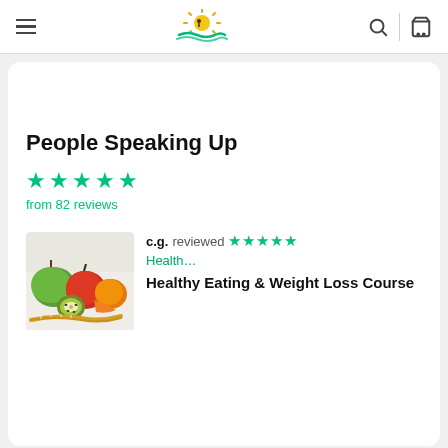GO FIT LIFE — navigation header with hamburger menu, logo, search and cart icons
People Speaking Up
★★★★★ from 82 reviews
[Figure (photo): Photo of fresh fruits including apples, kiwi, oranges on a white surface]
c.g. reviewed ★★★★★ Health… Healthy Eating & Weight Loss Course